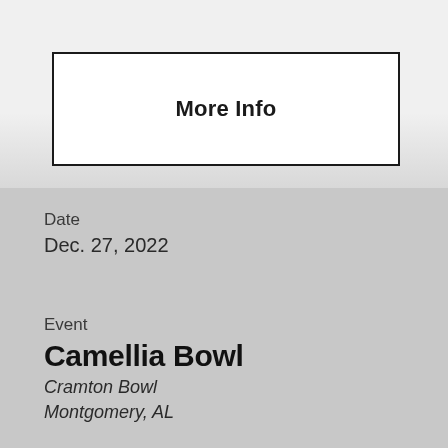More Info
Date
Dec. 27, 2022
Event
Camellia Bowl
Cramton Bowl
Montgomery, AL